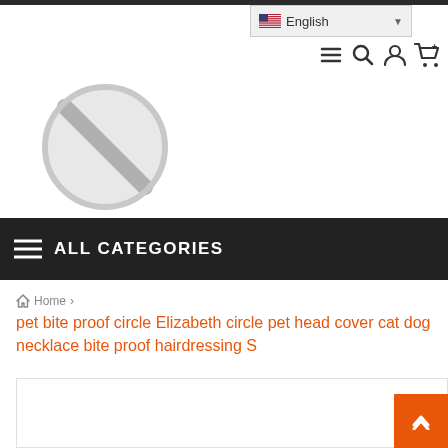English
[Figure (screenshot): No image placeholder — grey circle with diagonal line icon and 'No image' text below]
ALL CATEGORIES
Home >
pet bite proof circle Elizabeth circle pet head cover cat dog necklace bite proof hairdressing S
[Figure (other): Product detail content area (partially visible, white box with orange border bottom)]